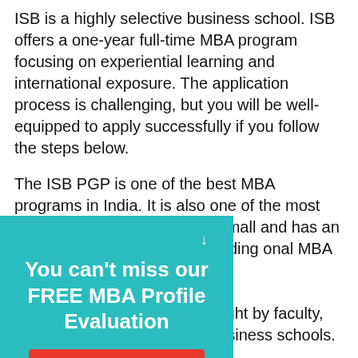ISB is a highly selective business school. ISB offers a one-year full-time MBA program focusing on experiential learning and international exposure. The application process is challenging, but you will be well-equipped to apply successfully if you follow the steps below.
The ISB PGP is one of the best MBA programs in India. It is also one of the most selective . ISB admits only a small and has an acceptance ing it more demanding onal MBA programs. n consists of eight terms s taught by faculty, iness executives and 's top business schools.
[Figure (infographic): Teal/cyan popup overlay with white text reading 'You can't miss our FREE MBA Profile Evaluation' and a red button labeled 'CLICK HERE!'. A downward arrow icon appears at the top right of the popup.]